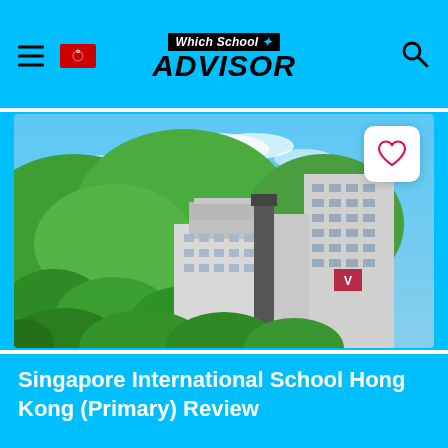Which School ADVISOR
[Figure (photo): Aerial/wide-angle photograph of Singapore International School Hong Kong campus — modern multi-story white and grey school buildings surrounded by lush green hills and trees under a bright blue sky with light clouds.]
Singapore International School Hong Kong (Primary) Review